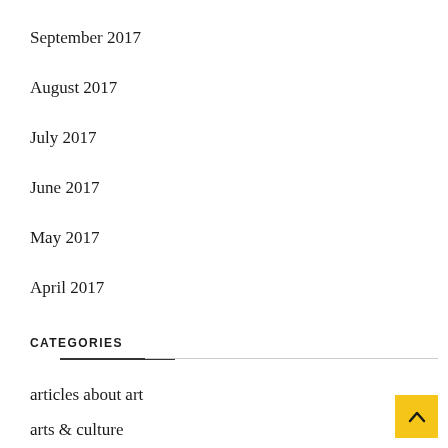September 2017
August 2017
July 2017
June 2017
May 2017
April 2017
CATEGORIES
articles about art
arts & culture